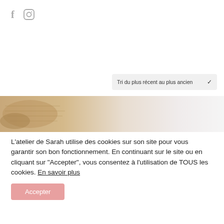[Figure (logo): Social media icons: Facebook 'f' and Instagram camera icon in grey]
[Figure (other): Dropdown selector labelled 'Tri du plus récent au plus ancien' with chevron]
[Figure (photo): Horizontal banner image showing a decorative craft/weaving item fading from warm brown tones on the left to pale grey on the right]
L'atelier de Sarah utilise des cookies sur son site pour vous garantir son bon fonctionnement. En continuant sur le site ou en cliquant sur "Accepter", vous consentez à l'utilisation de TOUS les cookies. En savoir plus
Accepter